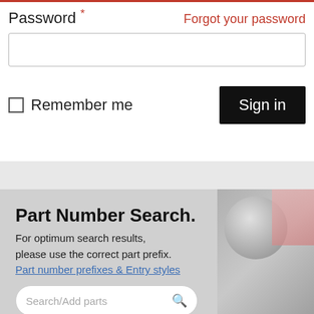Password *
Forgot your password
Remember me
Sign in
Part Number Search.
For optimum search results, please use the correct part prefix.
Part number prefixes & Entry styles
Search/Add parts